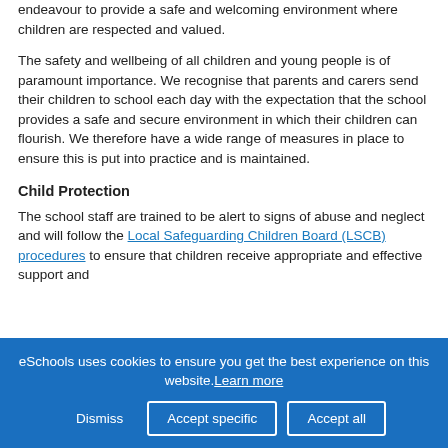endeavour to provide a safe and welcoming environment where children are respected and valued.
The safety and wellbeing of all children and young people is of paramount importance. We recognise that parents and carers send their children to school each day with the expectation that the school provides a safe and secure environment in which their children can flourish. We therefore have a wide range of measures in place to ensure this is put into practice and is maintained.
Child Protection
The school staff are trained to be alert to signs of abuse and neglect and will follow the Local Safeguarding Children Board (LSCB) procedures to ensure that children receive appropriate and effective support and
eSchools uses cookies to ensure you get the best experience on this website. Learn more
Dismiss | Accept specific | Accept all